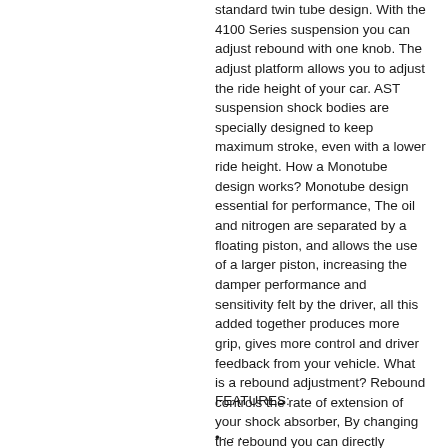standard twin tube design. With the 4100 Series suspension you can adjust rebound with one knob. The adjust platform allows you to adjust the ride height of your car. AST suspension shock bodies are specially designed to keep maximum stroke, even with a lower ride height. How a Monotube design works? Monotube design essential for performance, The oil and nitrogen are separated by a floating piston, and allows the use of a larger piston, increasing the damper performance and sensitivity felt by the driver, all this added together produces more grip, gives more control and driver feedback from your vehicle. What is a rebound adjustment? Rebound controls the rate of extension of your shock absorber, By changing the rebound you can directly change the characteristics of the vehicle. Floating piston design with high pressure nitrogen means no cavitation around the piston.
FEATURES:
...